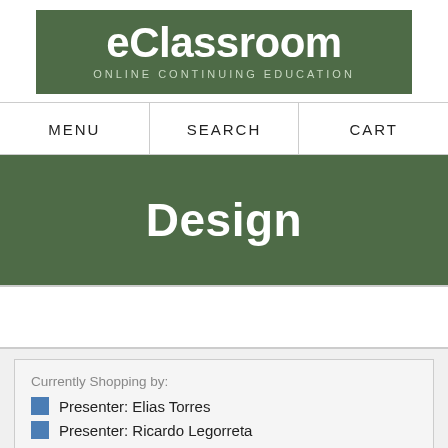eClassroom ONLINE CONTINUING EDUCATION
MENU   SEARCH   CART
Design
Currently Shopping by:
Presenter: Elias Torres
Presenter: Ricardo Legorreta